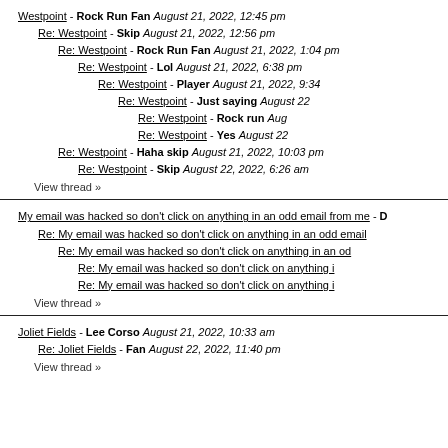Westpoint - Rock Run Fan August 21, 2022, 12:45 pm
Re: Westpoint - Skip August 21, 2022, 12:56 pm
Re: Westpoint - Rock Run Fan August 21, 2022, 1:04 pm
Re: Westpoint - Lol August 21, 2022, 6:38 pm
Re: Westpoint - Player August 21, 2022, 9:34
Re: Westpoint - Just saying August 22
Re: Westpoint - Rock run Aug
Re: Westpoint - Yes August 22
Re: Westpoint - Haha skip August 21, 2022, 10:03 pm
Re: Westpoint - Skip August 22, 2022, 6:26 am
View thread »
My email was hacked so don't click on anything in an odd email from me - D
Re: My email was hacked so don't click on anything in an odd email
Re: My email was hacked so don't click on anything in an od
Re: My email was hacked so don't click on anything i
Re: My email was hacked so don't click on anything i
View thread »
Joliet Fields - Lee Corso August 21, 2022, 10:33 am
Re: Joliet Fields - Fan August 22, 2022, 11:40 pm
View thread »